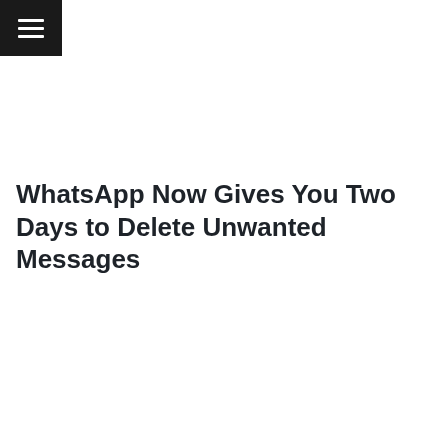[Figure (other): Hamburger menu icon (three white horizontal lines on black background) in the top-left corner]
WhatsApp Now Gives You Two Days to Delete Unwanted Messages